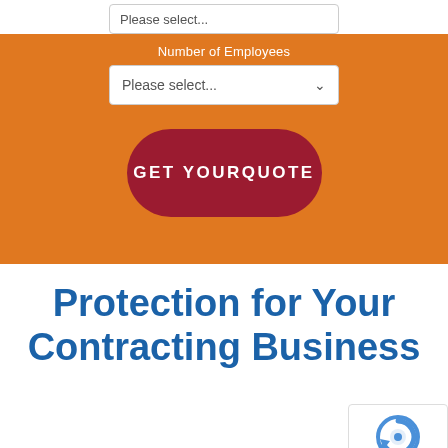[Figure (screenshot): Orange background form section with a 'Please select...' dropdown for Number of Employees and a dark red 'GET YOUR QUOTE' button]
Protection for Your Contracting Business
[Figure (logo): reCAPTCHA badge with Privacy and Terms links]